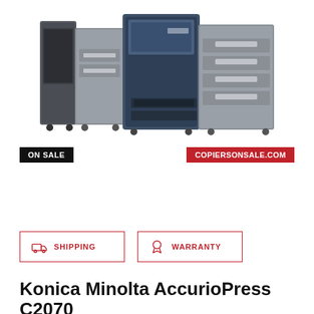[Figure (photo): Konica Minolta AccurioPress C2070 professional digital printing press machine in gray and navy blue color, shown with multiple paper trays and finishing units.]
ON SALE
COPIERSONSALE.COM
SHIPPING
WARRANTY
Konica Minolta AccurioPress C2070